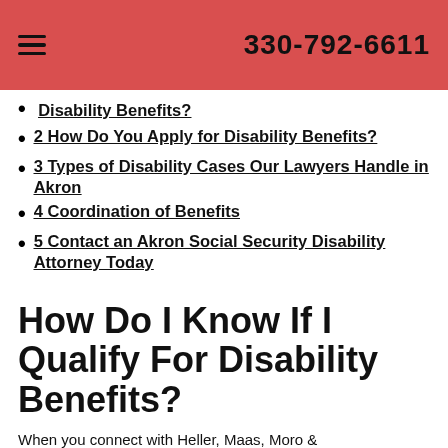330-792-6611
Disability Benefits?
2 How Do You Apply for Disability Benefits?
3 Types of Disability Cases Our Lawyers Handle in Akron
4 Coordination of Benefits
5 Contact an Akron Social Security Disability Attorney Today
How Do I Know If I Qualify For Disability Benefits?
When you connect with Heller, Maas, Moro &